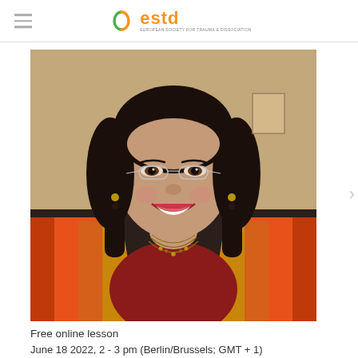estd
[Figure (photo): Portrait photo of a smiling woman with dark hair wearing rimless glasses, a red top, multi-strand bead necklace, and a colorful red and gold jacket/scarf. She is photographed against a neutral indoor background.]
Free online lesson
June 18 2022, 2 - 3 pm (Berlin/Brussels; GMT + 1)